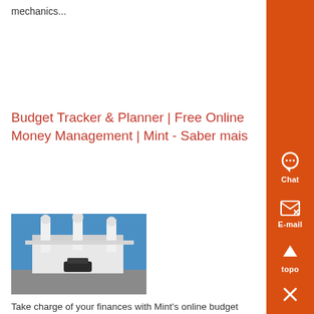mechanics...
Budget Tracker & Planner | Free Online Money Management | Mint - Saber mais
[Figure (photo): Exterior photo of a building or facility with white structures against a blue sky, appears to be a gas station or service facility]
Take charge of your finances with Mint's online budget planner Our free budget tracker helps you understand your spending for a brighter financial future...